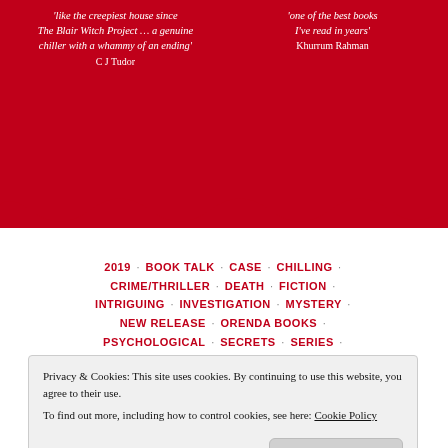'like the creepiest house since The Blair Witch Project ... a genuine chiller with a whammy of an ending' C J Tudor
'one of the best books I've read in years' Khurrum Rahman
2019 · BOOK TALK · CASE · CHILLING · CRIME/THRILLER · DEATH · FICTION · INTRIGUING · INVESTIGATION · MYSTERY · NEW RELEASE · ORENDA BOOKS · PSYCHOLOGICAL · SECRETS · SERIES · SUSPENSE · UNSETTLING · UPCOMING · WAITING ON WEDNESDAY
Waiting On Wednesday: Beast by Matt
Privacy & Cookies: This site uses cookies. By continuing to use this website, you agree to their use. To find out more, including how to control cookies, see here: Cookie Policy
Close and accept
#thriller #mystery #podcast #bookfour